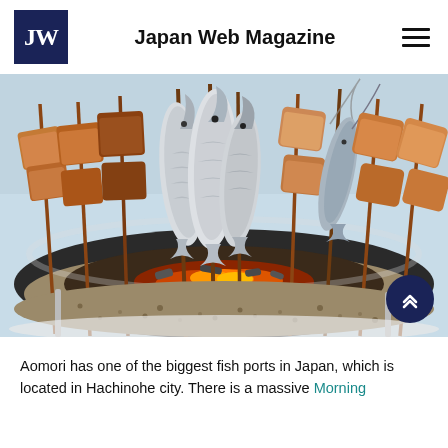Japan Web Magazine
[Figure (photo): Grilled fish and meat skewers on wooden sticks arranged over an open charcoal fire pit with glowing embers, set on a sandy/gravelly surface. Various fish including sardines or mackerel are skewered whole, along with pieces of grilled chicken and other meats.]
Aomori has one of the biggest fish ports in Japan, which is located in Hachinohe city. There is a massive Morning